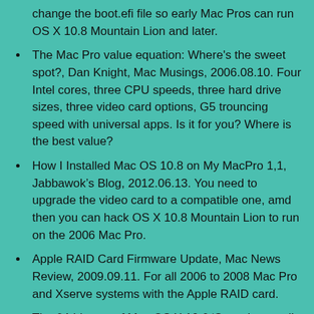change the boot.efi file so early Mac Pros can run OS X 10.8 Mountain Lion and later.
The Mac Pro value equation: Where's the sweet spot?, Dan Knight, Mac Musings, 2006.08.10. Four Intel cores, three CPU speeds, three hard drive sizes, three video card options, G5 trouncing speed with universal apps. Is it for you? Where is the best value?
How I Installed Mac OS 10.8 on My MacPro 1,1, Jabbawok’s Blog, 2012.06.13. You need to upgrade the video card to a compatible one, amd then you can hack OS X 10.8 Mountain Lion to run on the 2006 Mac Pro.
Apple RAID Card Firmware Update, Mac News Review, 2009.09.11. For all 2006 to 2008 Mac Pro and Xserve systems with the Apple RAID card.
The 64-bitness of Mac OS X 10.6 ‘Snow Leopard’, Dan Knight, Mac Musings, 2009.08.19. Although Apple is promoting ‘Snow Leopard’ as a fully 64-bit operating system, it defaults to running in 32-bit mode.
The Road Ahead: 64-bit Computing, Dan Knight, Mac...